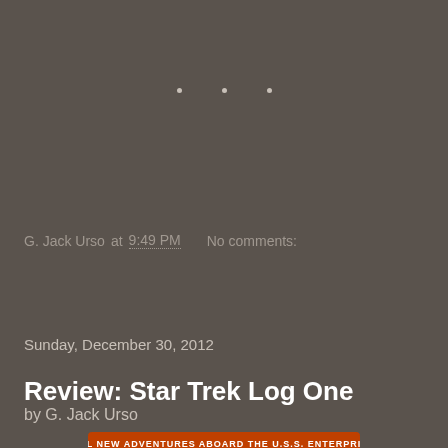G. Jack Urso at 9:49 PM   No comments:
Share
Sunday, December 30, 2012
Review: Star Trek Log One
by G. Jack Urso
[Figure (photo): Book cover of Star Trek Log One showing 'ALL NEW ADVENTURES ABOARD THE U.S.S. ENTERPRISE' at top, large STAR TREK logo, and LOG ONE label at bottom]